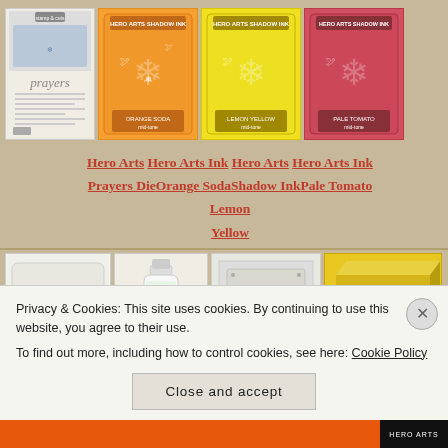[Figure (photo): Four product images in top row: Hero Arts Prayers Die stamp set card, Hero Arts Orange Soda Shadow Ink pad (orange), Hero Arts Lemon Yellow Shadow Ink pad (yellow), Hero Arts Pale Tomato Ink pad (pink/red)]
Hero Arts Hero Arts Ink Hero Arts Hero Arts Ink Prayers Die Orange Soda Shadow Ink Pale Tomato Lemon Yellow
[Figure (photo): Four product images in bottom row: Memento black ink pad, Glossy Accents bottle, a stamp set in gray packaging, yellow cardstock ream box]
Privacy & Cookies: This site uses cookies. By continuing to use this website, you agree to their use.
To find out more, including how to control cookies, see here: Cookie Policy
Close and accept